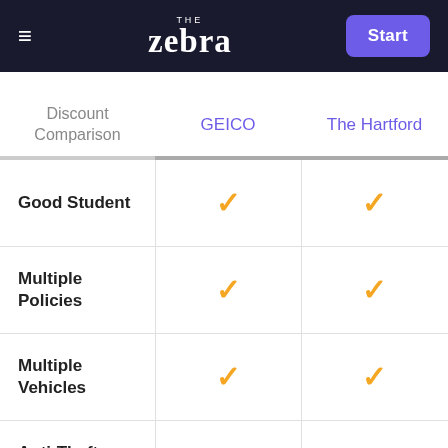THE Zebra | Start
| Discount Comparison | GEICO | The Hartford |
| --- | --- | --- |
| Good Student | ✓ | ✓ |
| Multiple Policies | ✓ | ✓ |
| Multiple Vehicles | ✓ | ✓ |
| Anti-Theft Device(s) | ✓ | ✓ |